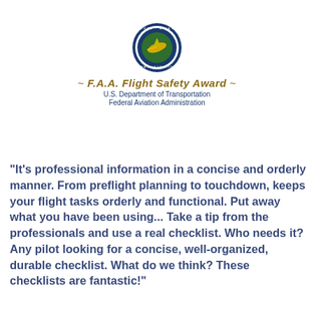[Figure (logo): FAA circular seal logo — Federal Aviation Administration, U.S. Department of Transportation, blue and green circular emblem with gold aircraft wing symbol in center]
~ F.A.A. Flight Safety Award ~
U.S. Department of Transportation
Federal Aviation Administration
"It's professional information in a concise and orderly manner. From preflight planning to touchdown, keeps your flight tasks orderly and functional. Put away what you have been using... Take a tip from the professionals and use a real checklist. Who needs it? Any pilot looking for a concise, well-organized, durable checklist. What do we think? These checklists are fantastic!"